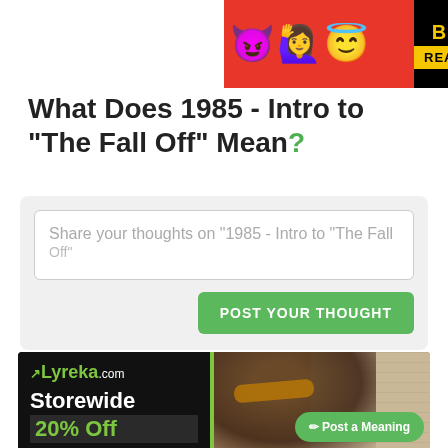[Figure (photo): BitLife advertisement banner with emoji characters (devil, person, angel face) on red background, and BitLife logo with 'REAL CHOICES' on black background]
What Does 1985 - Intro to "The Fall Off" Mean?
[Figure (screenshot): Text input box with placeholder 'Share your thoughts on "1985 - Intro to "The Fall Off"' and a green POST YOUR THOUGHT button]
[Figure (photo): Lyreka.com advertisement with black background on left showing 'Storewide 20% Off Sale' text in white and green, and right side showing a smiling person with headphones and sunglasses against brick wall. Green 'Post a Meaning' button overlay.]